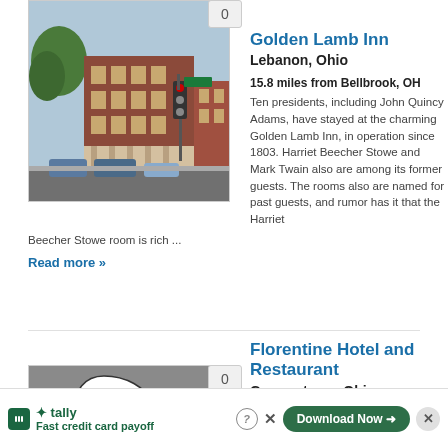[Figure (photo): Photo of Golden Lamb Inn building, a brick multi-story building with a traffic light and trees visible]
Golden Lamb Inn
Lebanon, Ohio
15.8 miles from Bellbrook, OH
Ten presidents, including John Quincy Adams, have stayed at the charming Golden Lamb Inn, in operation since 1803. Harriet Beecher Stowe and Mark Twain also are among its former guests. The rooms also are named for past guests, and rumor has it that the Harriet Beecher Stowe room is rich ...
Read more »
[Figure (illustration): Ghost illustration - white cartoon ghost on grey background]
Florentine Hotel and Restaurant
Germantown, Ohio
16 miles from Bellbrook, OH
[Figure (other): Tally advertisement banner - Fast credit card payoff with Download Now button]